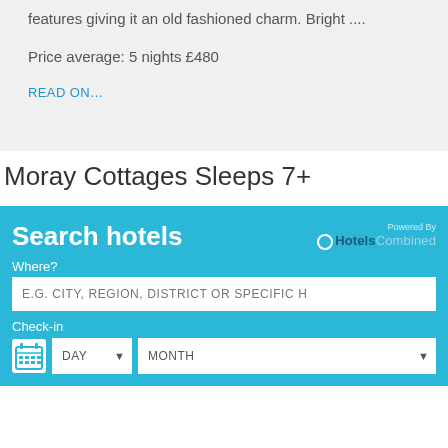features giving it an old fashioned charm. Bright ....
Price average: 5 nights £480
READ ON…
Moray Cottages Sleeps 7+
[Figure (screenshot): Search hotels widget with HotelsCombined branding, Where? input field with placeholder 'E.G. CITY, REGION, DISTRICT OR SPECIFIC H', Check-in section with DAY and MONTH dropdowns]
Search hotels
Powered By HotelsCombined
Where?
E.G. CITY, REGION, DISTRICT OR SPECIFIC H
Check-in
DAY
MONTH